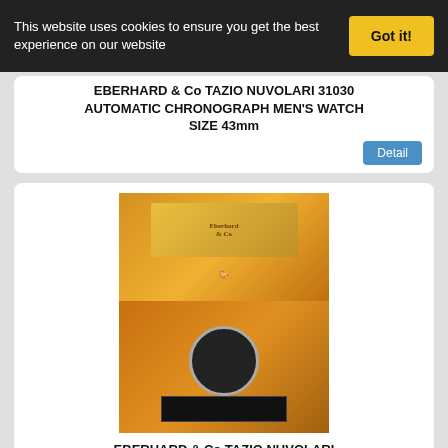This website uses cookies to ensure you get the best experience on our website
Got it!
EBERHARD & Co TAZIO NUVOLARI 31030 AUTOMATIC CHRONOGRAPH MEN'S WATCH SIZE 43mm
[Figure (photo): Product listing detail button]
[Figure (photo): Eberhard & Co Tazio Nuvolari watch in orange wooden box with chronograph visible]
EBERHARD & Co TAZIO NUVOLARI AUTOMATIK LUXUS HERREN CHRONOGRAPH REF.31030 OVP
[Figure (photo): Eberhard & Co gold watch with dark dial and leather strap, chronograph subdials visible]